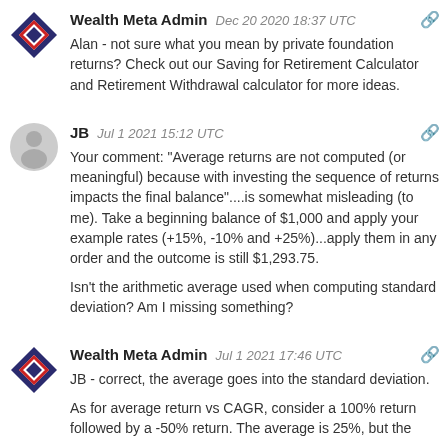Wealth Meta Admin  Dec 20 2020 18:37 UTC
Alan - not sure what you mean by private foundation returns? Check out our Saving for Retirement Calculator and Retirement Withdrawal calculator for more ideas.
JB  Jul 1 2021 15:12 UTC
Your comment: "Average returns are not computed (or meaningful) because with investing the sequence of returns impacts the final balance"....is somewhat misleading (to me). Take a beginning balance of $1,000 and apply your example rates (+15%, -10% and +25%)...apply them in any order and the outcome is still $1,293.75.
Isn't the arithmetic average used when computing standard deviation? Am I missing something?
Wealth Meta Admin  Jul 1 2021 17:46 UTC
JB - correct, the average goes into the standard deviation.
As for average return vs CAGR, consider a 100% return followed by a -50% return. The average is 25%, but the